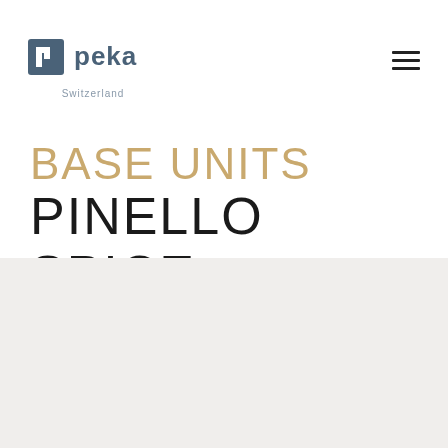[Figure (logo): Peka Switzerland logo — a square icon with a stylized 'p' shape and the word 'peka' in dark blue-grey, with 'Switzerland' in smaller grey text below]
BASE UNITS
PINELLO SPICE
[Figure (photo): Light beige/grey background panel filling the bottom portion of the page]